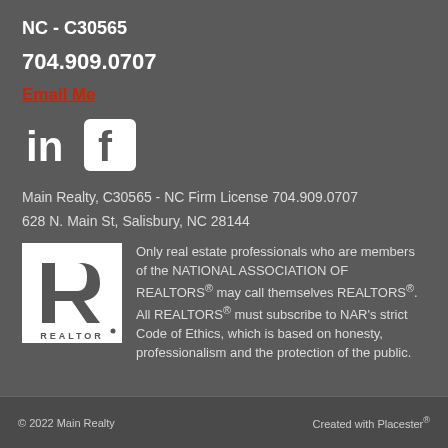NC - C30565
704.909.0707
Email Me
[Figure (logo): LinkedIn and Facebook social media icons (white on dark background)]
Main Realty, C30565 - NC Firm License 704.909.0707
628 N. Main St, Salisbury, NC 28144
[Figure (logo): REALTOR logo - stylized R with REALTOR text below]
Only real estate professionals who are members of the NATIONAL ASSOCIATION OF REALTORS® may call themselves REALTORS®. All REALTORS® must subscribe to NAR’s strict Code of Ethics, which is based on honesty, professionalism and the protection of the public.
© 2022 Main Realty    Created with Placester®